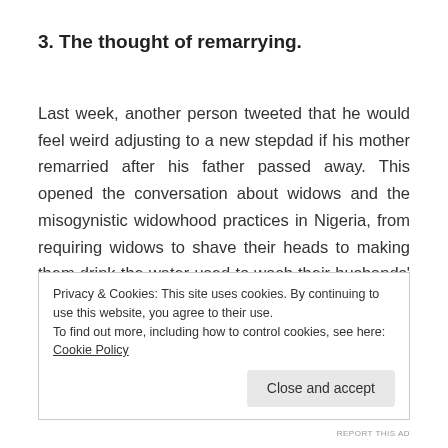3. The thought of remarrying.
Last week, another person tweeted that he would feel weird adjusting to a new stepdad if his mother remarried after his father passed away. This opened the conversation about widows and the misogynistic widowhood practices in Nigeria, from requiring widows to shave their heads to making them drink the water used to wash their husbands' corpses! (Of course, men are not required do to any of these things if their wives pass away.) If you are interested, you can learn more
Privacy & Cookies: This site uses cookies. By continuing to use this website, you agree to their use.
To find out more, including how to control cookies, see here: Cookie Policy

Close and accept